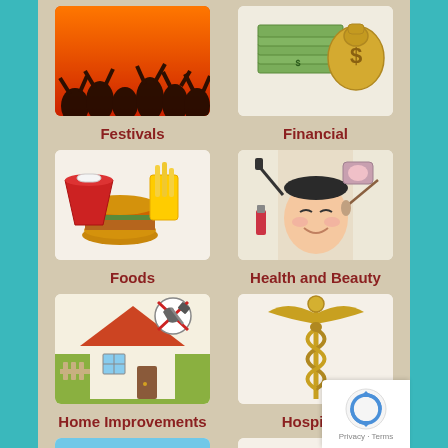[Figure (illustration): Festivals category icon: silhouette of crowd with arms raised against orange background]
Festivals
[Figure (illustration): Financial category icon: stack of money bills and a money bag with dollar sign]
Financial
[Figure (illustration): Foods category icon: burger, fries, and soft drink cup]
Foods
[Figure (illustration): Health and Beauty category icon: cartoon face of woman with makeup items around her]
Health and Beauty
[Figure (illustration): Home Improvements category icon: illustration of house with tools no sign]
Home Improvements
[Figure (illustration): Hospitals category icon: gold caduceus medical symbol]
Hospitals
[Figure (illustration): Beach vacation icon: beach umbrella with chairs and tropical drink]
[Figure (illustration): Hotels/buildings icon: brown and gold buildings illustration]
[Figure (screenshot): Google reCAPTCHA privacy badge with refresh icon and Privacy - Terms text]